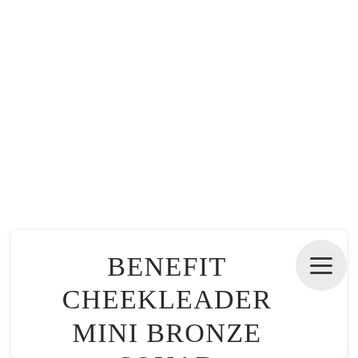BENEFIT CHEEKLEADER MINI BRONZE SQUAD REVIEW AND SWATCHES